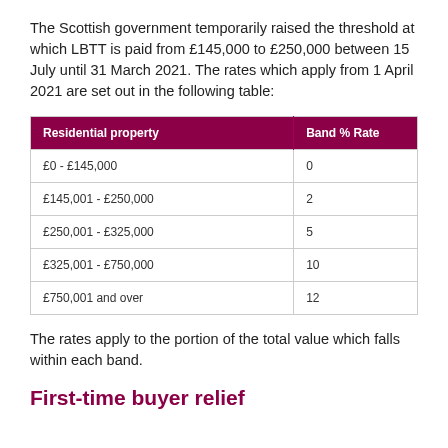The Scottish government temporarily raised the threshold at which LBTT is paid from £145,000 to £250,000 between 15 July until 31 March 2021. The rates which apply from 1 April 2021 are set out in the following table:
| Residential property | Band % Rate |
| --- | --- |
| £0 - £145,000 | 0 |
| £145,001 - £250,000 | 2 |
| £250,001 - £325,000 | 5 |
| £325,001 - £750,000 | 10 |
| £750,001 and over | 12 |
The rates apply to the portion of the total value which falls within each band.
First-time buyer relief